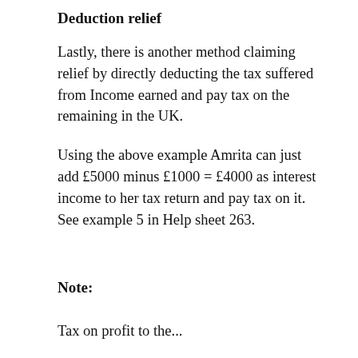Deduction relief
Lastly, there is another method claiming relief by directly deducting the tax suffered from Income earned and pay tax on the remaining in the UK.
Using the above example Amrita can just add £5000 minus £1000 = £4000 as interest income to her tax return and pay tax on it. See example 5 in Help sheet 263.
Note:
Tax on profit to the…which one method…